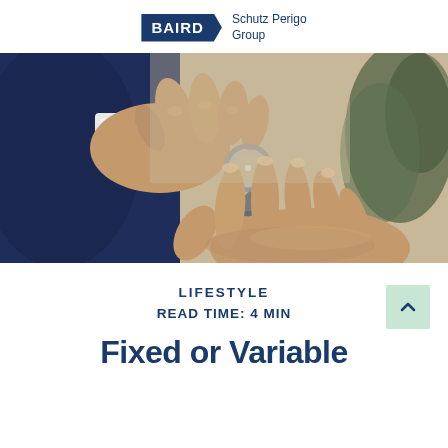[Figure (logo): Baird Schutz Perigo Group logo with blue pennant shape and text]
[Figure (photo): A hand in a suit holding a house-shaped keychain over another open palm, suggesting a real estate transaction]
LIFESTYLE
READ TIME: 4 MIN
Fixed or Variable